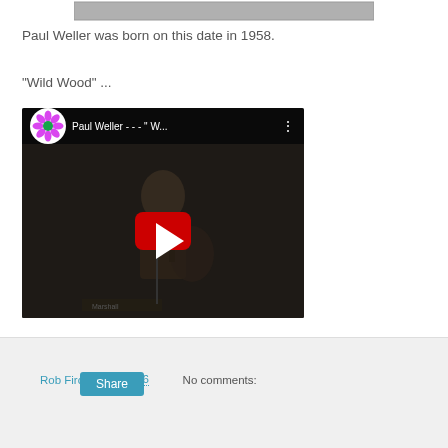[Figure (photo): Partial top of an image (cropped), appears to be a black and white photograph partially visible at the top of the page]
Paul Weller was born on this date in 1958.
"Wild Wood" ...
[Figure (screenshot): YouTube video thumbnail showing Paul Weller playing guitar in black and white, with a red play button overlay. The video title reads 'Paul Weller - - - " W...' with a flower/daisy channel icon.]
Rob Firchau at 06:56   No comments:
Share